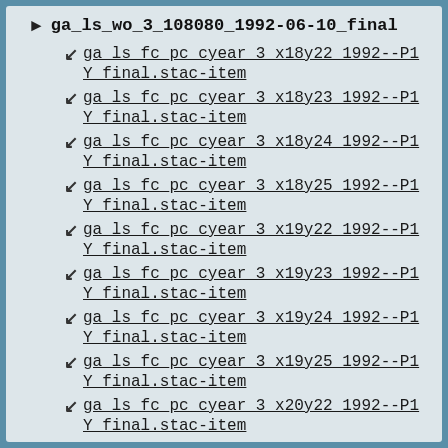ga_ls_wo_3_108080_1992-06-10_final
ga_ls_fc_pc_cyear_3_x18y22_1992--P1Y_final.stac-item
ga_ls_fc_pc_cyear_3_x18y23_1992--P1Y_final.stac-item
ga_ls_fc_pc_cyear_3_x18y24_1992--P1Y_final.stac-item
ga_ls_fc_pc_cyear_3_x18y25_1992--P1Y_final.stac-item
ga_ls_fc_pc_cyear_3_x19y22_1992--P1Y_final.stac-item
ga_ls_fc_pc_cyear_3_x19y23_1992--P1Y_final.stac-item
ga_ls_fc_pc_cyear_3_x19y24_1992--P1Y_final.stac-item
ga_ls_fc_pc_cyear_3_x19y25_1992--P1Y_final.stac-item
ga_ls_fc_pc_cyear_3_x20y22_1992--P1Y_final.stac-item